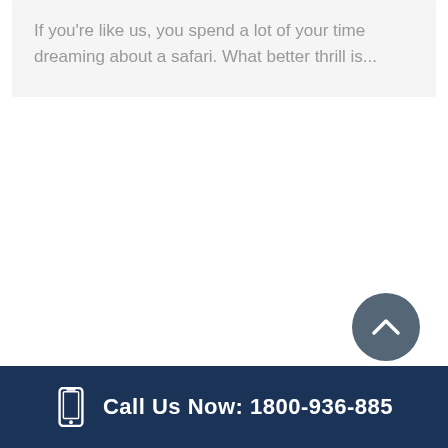If you're like us, you spend a lot of your time dreaming about a safari. What better thrill is...
Call Us Now: 1800-936-885